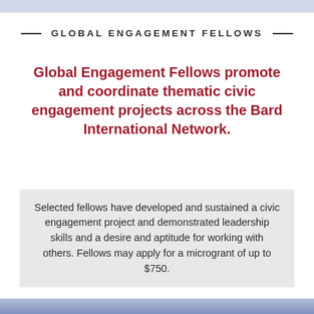GLOBAL ENGAGEMENT FELLOWS
Global Engagement Fellows promote and coordinate thematic civic engagement projects across the Bard International Network.
Selected fellows have developed and sustained a civic engagement project and demonstrated leadership skills and a desire and aptitude for working with others. Fellows may apply for a microgrant of up to $750.